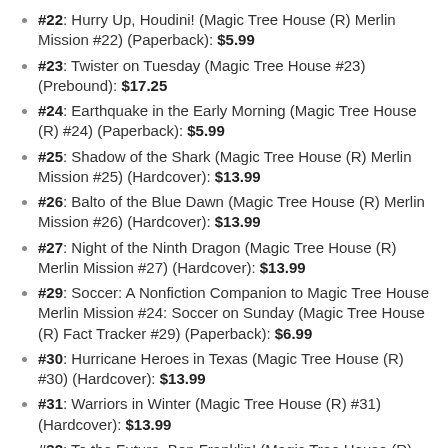#22: Hurry Up, Houdini! (Magic Tree House (R) Merlin Mission #22) (Paperback): $5.99
#23: Twister on Tuesday (Magic Tree House #23) (Prebound): $17.25
#24: Earthquake in the Early Morning (Magic Tree House (R) #24) (Paperback): $5.99
#25: Shadow of the Shark (Magic Tree House (R) Merlin Mission #25) (Hardcover): $13.99
#26: Balto of the Blue Dawn (Magic Tree House (R) Merlin Mission #26) (Hardcover): $13.99
#27: Night of the Ninth Dragon (Magic Tree House (R) Merlin Mission #27) (Hardcover): $13.99
#29: Soccer: A Nonfiction Companion to Magic Tree House Merlin Mission #24: Soccer on Sunday (Magic Tree House (R) Fact Tracker #29) (Paperback): $6.99
#30: Hurricane Heroes in Texas (Magic Tree House (R) #30) (Hardcover): $13.99
#31: Warriors in Winter (Magic Tree House (R) #31) (Hardcover): $13.99
#32: To the Future, Ben Franklin! (Magic Tree House (R) #32)